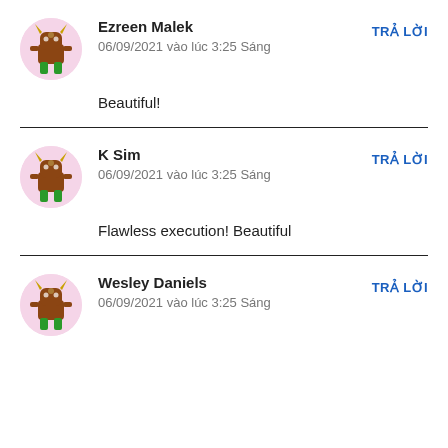Ezreen Malek
06/09/2021 vào lúc 3:25 Sáng
TRẢ LỜI
Beautiful!
K Sim
06/09/2021 vào lúc 3:25 Sáng
TRẢ LỜI
Flawless execution! Beautiful
Wesley Daniels
06/09/2021 vào lúc 3:25 Sáng
TRẢ LỜI